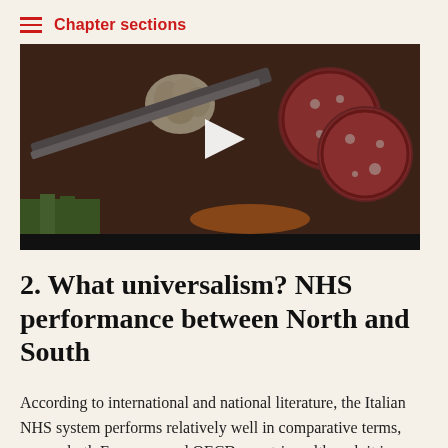Chapter sections
[Figure (photo): Photo of sliced Italian salami/sausage with garlic and vegetables on a cutting board, with a play button overlay indicating a video player]
2. What universalism? NHS performance between North and South
According to international and national literature, the Italian NHS system performs relatively well in comparative terms, among both European and OECD countries, although it is questionable whether